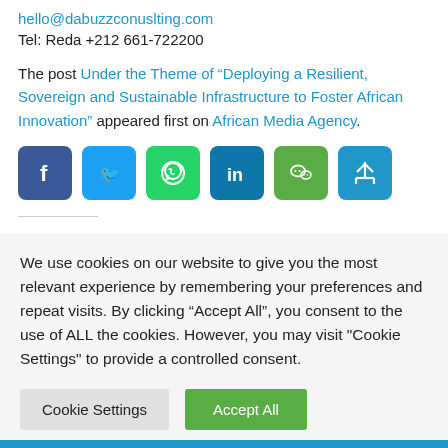hello@dabuzzconuslting.com
Tel: Reda +212 661-722200
The post Under the Theme of “Deploying a Resilient, Sovereign and Sustainable Infrastructure to Foster African Innovation” appeared first on African Media Agency.
[Figure (infographic): Row of social media share icons: Facebook (blue), Twitter (light blue), WhatsApp (green), LinkedIn (teal), WeChat (olive green), Share/more (blue)]
We use cookies on our website to give you the most relevant experience by remembering your preferences and repeat visits. By clicking “Accept All”, you consent to the use of ALL the cookies. However, you may visit "Cookie Settings" to provide a controlled consent.
Cookie Settings | Accept All